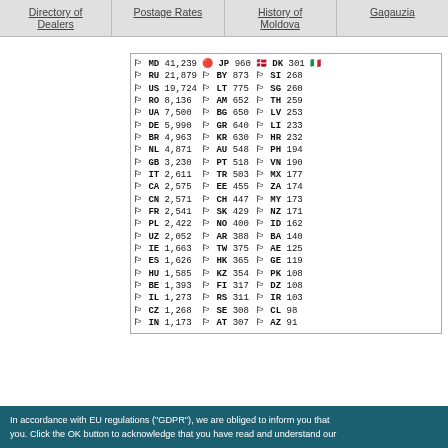Directory of Dealers | Postage Rates | History of Moldova | Gagauzia
| Flag | Code | Count | Flag | Code | Count | Flag | Code | Count | Flag | Code | Count |
| --- | --- | --- | --- | --- | --- | --- | --- | --- | --- | --- | --- |
| MD | 41,239 | JP | 960 | DK | 301 | ... |
| RU | 21,879 | BY | 873 | SI | 268 | ... |
| US | 19,724 | LT | 775 | SG | 260 | ... |
| RO | 8,136 | AM | 652 | TH | 259 | ... |
| UA | 7,500 | BG | 650 | LV | 253 | ... |
| DE | 5,990 | GR | 640 | LI | 233 | ... |
| BR | 4,963 | KR | 630 | HR | 232 | ... |
| NL | 4,871 | AU | 548 | PH | 194 | ... |
| GB | 3,230 | PT | 518 | VN | 190 | ... |
| IT | 2,611 | TR | 503 | MX | 177 | ... |
| CA | 2,575 | EE | 455 | ZA | 174 | ... |
| CN | 2,571 | CH | 447 | MY | 173 | ... |
| FR | 2,541 | SK | 429 | NZ | 171 | ... |
| PL | 2,422 | NO | 400 | ID | 162 | ... |
| UZ | 2,052 | AR | 388 | BA | 140 | ... |
| IE | 1,663 | TW | 375 | AE | 125 | ... |
| ES | 1,626 | HK | 365 | GE | 119 | ... |
| HU | 1,585 | KZ | 354 | PK | 108 | ... |
| BE | 1,393 | FI | 317 | DZ | 108 | ... |
| IL | 1,273 | RS | 311 | IR | 103 | ... |
| CZ | 1,268 | SE | 308 | CL | 98 | ... |
| IN | 1,173 | AT | 307 | AZ | 91 | ... |
In accordance with EU regulations ("GDPR"), we are obliged to inform you that you. Click the OK button to acknowledge that you have read and understand our